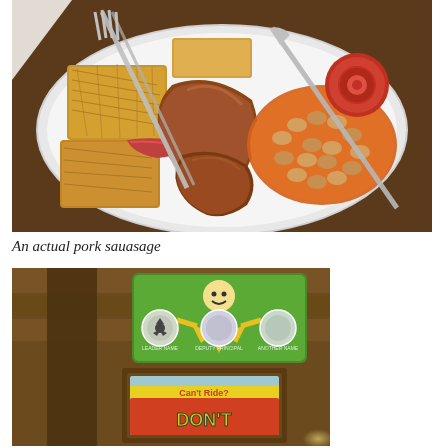[Figure (photo): A white plate with a full English breakfast: hash browns, sausages, baked beans in tomato sauce, a grilled tomato ring, bacon, with a fork and knife resting on the plate on a dark wooden table.]
An actual pork sauasage
[Figure (photo): A wooden structure/entrance with a green sign featuring a cartoon child character (stick figure with smiley face on a yellow star), circular logos/badges, and a framed sign below reading 'Can't Ride? DON'T' in colorful illustrated text, seen at what appears to be an amusement park or ride entrance.]